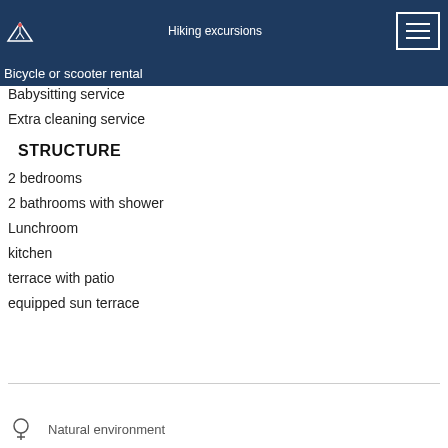Hiking excursions
Boat trips
Bicycle or scooter rental
Babysitting service
Extra cleaning service
STRUCTURE
2 bedrooms
2 bathrooms with shower
Lunchroom
kitchen
terrace with patio
equipped sun terrace
Natural environment